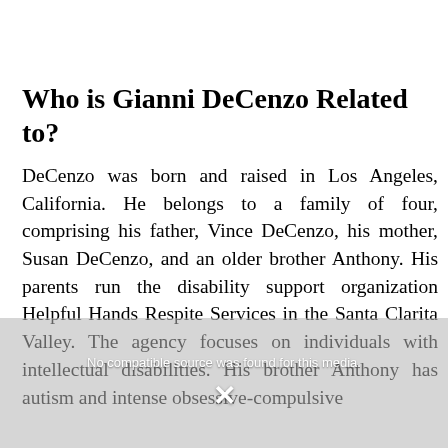Who is Gianni DeCenzo Related to?
DeCenzo was born and raised in Los Angeles, California. He belongs to a family of four, comprising his father, Vince DeCenzo, his mother, Susan DeCenzo, and an older brother Anthony. His parents run the disability support organization Helpful Hands Respite Services in the Santa Clarita Valley. The agency focuses on individuals with intellectual disabilities. His brother Anthony has autism and intense obsessive-compulsive
[Figure (screenshot): Video player overlay showing 'No compatible source was found for this media.' error message with an X button, overlaid on a dark background with figures.]